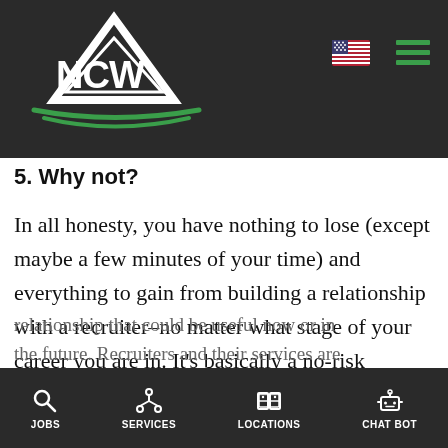NCW logo and navigation header
5. Why not?
In all honesty, you have nothing to lose (except maybe a few minutes of your time) and everything to gain from building a relationship with a recruiter–no matter what stage of your career you are in. It's basically a no-risk proposition. When recruiters pick up the phone and call you, they're looking to create a relationship that could be useful now or in the future. Recruiters and their services are
JOBS | SERVICES | LOCATIONS | CHAT BOT